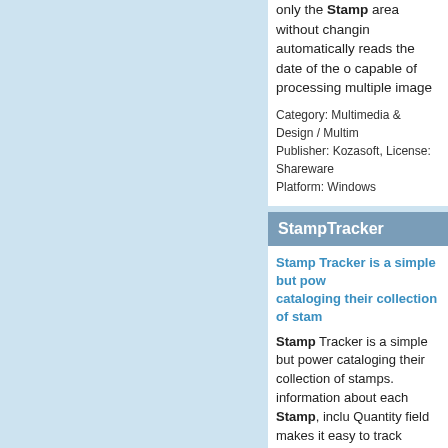only the Stamp area without changin automatically reads the date of the o capable of processing multiple image
Category: Multimedia & Design / Multim Publisher: Kozasoft, License: Sharewar Platform: Windows
StampTracker
Stamp Tracker is a simple but powe cataloging their collection of stam
Stamp Tracker is a simple but powe cataloging their collection of stamps. information about each Stamp, inclu Quantity field makes it easy to track duplicates...
Category: Home & Education / Miscella Publisher: CyberNiche Software, Licens Platform: Windows
PERFOMaster
The program PERFOMaster 3000 i
The program PERFOMaster 3000 is scanning in your Stamp or importing able to measure the perforations of y (rotated), cut and measured automat
Category: Home & Education / Miscellar